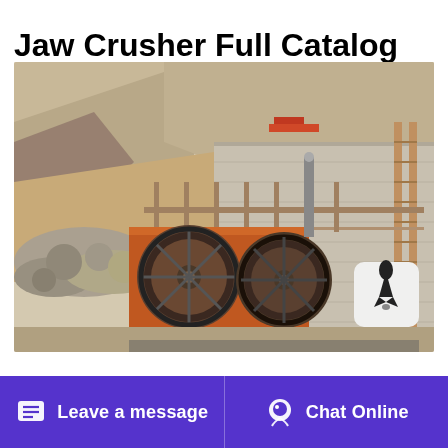Jaw Crusher Full Catalog Primary Hard Stone Crushing
[Figure (photo): Outdoor quarry site with a large jaw crusher machine featuring two large orange flywheels, surrounded by rock piles, scaffolding, and construction structures in a rocky hillside setting.]
May 27 2021 The commonly used crushers for sand and gravel aggregate production lines and their advantages
Leave a message | Chat Online